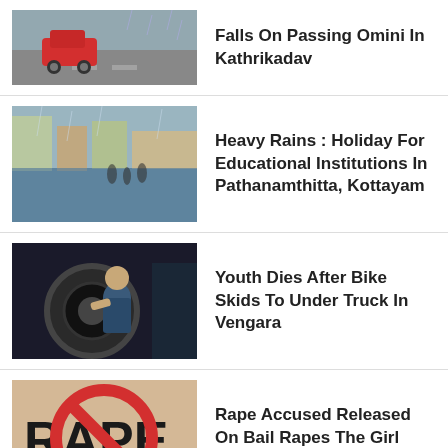Falls On Passing Omini In Kathrikadav
Heavy Rains : Holiday For Educational Institutions In Pathanamthitta, Kottayam
Youth Dies After Bike Skids To Under Truck In Vengara
Rape Accused Released On Bail Rapes The Girl Again
Students Clash At Bus Waiting-shed In Pattambi